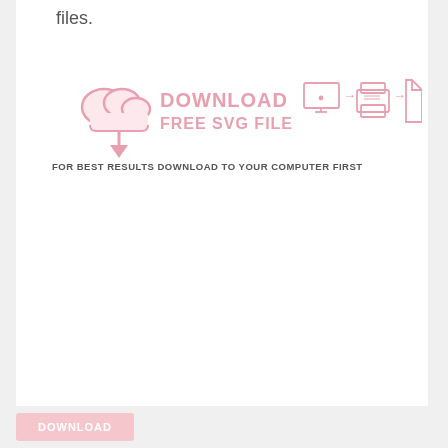files.
[Figure (infographic): Download Free SVG File infographic: pink cloud with download arrow icon, bold pink text 'DOWNLOAD FREE SVG FILE', followed by icons of a monitor, arrow, printer, arrow, and document page. Below: dark gray text 'FOR BEST RESULTS DOWNLOAD TO YOUR COMPUTER FIRST']
DOWNLOAD